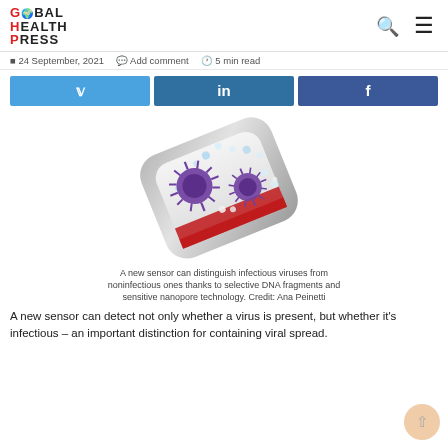GLOBAL HEALTH PRESS
24 September, 2021  Add comment  5 min read
[Figure (illustration): Scientific illustration of a nanopore sensor device shaped like a rounded rectangular tube, shown in cross-section. Two purple spiky virus particles are visible inside the tube surrounded by small blue and white spheres (nanoparticles). The bottom of the tube contains a red liquid (blood).]
A new sensor can distinguish infectious viruses from noninfectious ones thanks to selective DNA fragments and sensitive nanopore technology. Credit: Ana Peinetti
A new sensor can detect not only whether a virus is present, but whether it's infectious – an important distinction for containing viral spread.